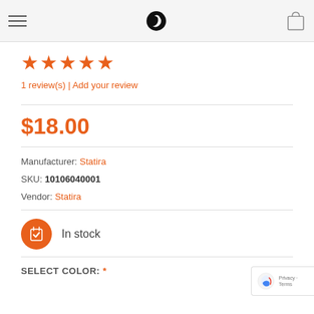Navigation header with hamburger menu, logo, and cart icon
[Figure (other): Five orange star rating icons]
1 review(s) | Add your review
$18.00
Manufacturer: Statira
SKU: 10106040001
Vendor: Statira
[Figure (illustration): Orange circular badge with shopping bag and checkmark icon, indicating in stock status]
In stock
SELECT COLOR: *